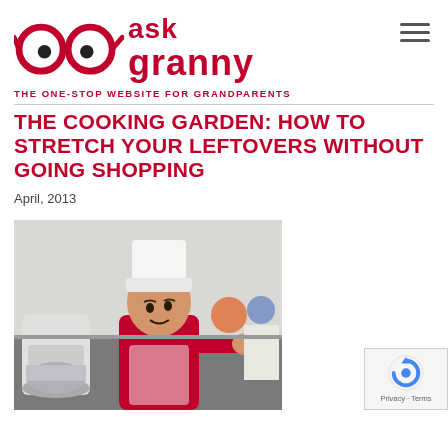ask granny — THE ONE-STOP WEBSITE FOR GRANDPARENTS
THE COOKING GARDEN: HOW TO STRETCH YOUR LEFTOVERS WITHOUT GOING SHOPPING
April, 2013
[Figure (photo): A young child wearing a white chef's hat and red shirt uses a stand mixer in a kitchen setting]